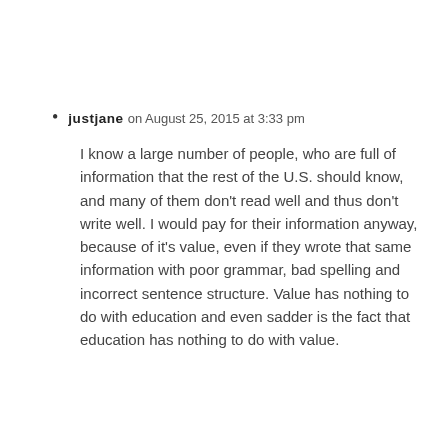justjane on August 25, 2015 at 3:33 pm

I know a large number of people, who are full of information that the rest of the U.S. should know, and many of them don't read well and thus don't write well. I would pay for their information anyway, because of it's value, even if they wrote that same information with poor grammar, bad spelling and incorrect sentence structure. Value has nothing to do with education and even sadder is the fact that education has nothing to do with value.